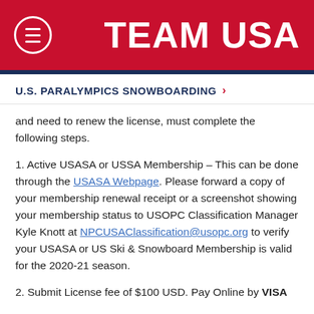TEAM USA
U.S. PARALYMPICS SNOWBOARDING >
and need to renew the license, must complete the following steps.
1. Active USASA or USSA Membership – This can be done through the USASA Webpage. Please forward a copy of your membership renewal receipt or a screenshot showing your membership status to USOPC Classification Manager Kyle Knott at NPCUSAClassification@usopc.org to verify your USASA or US Ski & Snowboard Membership is valid for the 2020-21 season.
2. Submit License fee of $100 USD. Pay Online by VISA